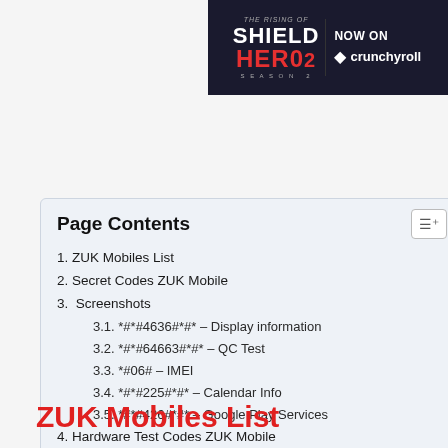[Figure (illustration): Advertisement banner for 'The Rising of the Shield Hero Season 2' on Crunchyroll]
Page Contents
1. ZUK Mobiles List
2. Secret Codes ZUK Mobile
3.  Screenshots
3.1. *#*#4636#*#* – Display information
3.2. *#*#64663#*#* – QC Test
3.3. *#06# – IMEI
3.4. *#*#225#*#* – Calendar Info
3.5. *#*#426#*#* – Google Play Services
4. Hardware Test Codes ZUK Mobile
5. Software Info Codes ZUK Mobile
6. Reset Codes ZUK Mobile
7. Backup Code ZUK Mobile
8. Other Secret Codes ZUK Mobile
ZUK Mobiles List